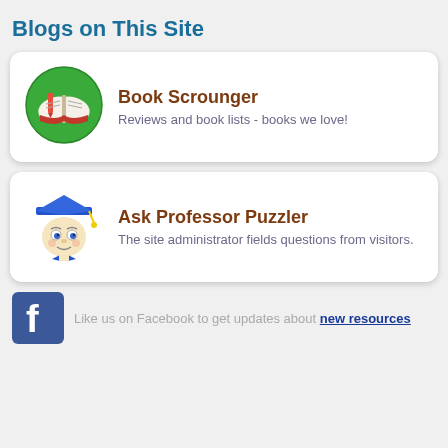Blogs on This Site
[Figure (illustration): Open book with red bookmark on green circle background - Book Scrounger blog icon]
Book Scrounger
Reviews and book lists - books we love!
[Figure (illustration): Cartoon professor face with graduation cap and bow tie - Ask Professor Puzzler blog icon]
Ask Professor Puzzler
The site administrator fields questions from visitors.
[Figure (logo): Facebook logo icon - blue square with white f]
Like us on Facebook to get updates about new resources